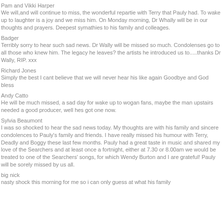Pam and Vikki Harper
We will,and will continue to miss, the wonderful repartie with Terry that Pauly had. To wake up to laughter is a joy and we miss him. On Monday morning, Dr Whally will be in our thoughts and prayers. Deepest symathies to his family and colleages.
Badger
Terribly sorry to hear such sad news. Dr Wally will be missed so much. Condolenses go to all those who knew him. The legacy he leaves? the artists he introduced us to.....thanks Dr Wally, RIP. xxx
Richard Jones
Simply the best I cant believe that we will never hear his like again Goodbye and God bless
Andy Catto
He will be much missed, a sad day for wake up to wogan fans, maybe the man upstairs needed a good producer, well hes got one now.
Sylvia Beaumont
I was so shocked to hear the sad news today. My thoughts are with his family and sincere condolences to Pauly's family and friends. I have really missed his humour with Terry, Deadly and Boggy these last few months. Pauly had a great taste in music and shared my love of the Searchers and at least once a fortnight, either at 7.30 or 8.00am we would be treated to one of the Searchers' songs, for which Wendy Burton and I are grateful! Pauly will be sorely missed by us all.
big nick
nasty shock this morning for me so i can only guess at what his family